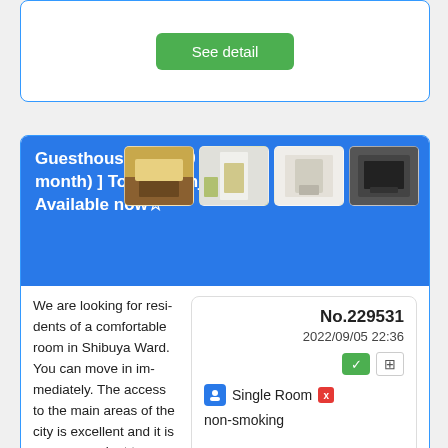[Figure (screenshot): Partial top card with 'See detail' green button]
Guesthouse [ 48000 yen (per month) ] Tokyo Shinjuku Available now☆
[Figure (photo): Four thumbnail photos of a guesthouse room]
We are looking for residents of a comfortable room in Shibuya Ward. You can move in immediately. The access to the main areas of the city is excellent and it is very convenient to go anywhere. It is a detached property in a very quiet residential area in the center of the city. Convenience stores...
| No.229531 | 2022/09/05 22:36 | Single Room | non-smoking |